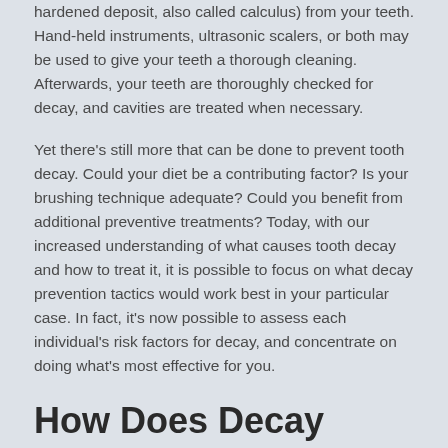hardened deposit, also called calculus) from your teeth. Hand-held instruments, ultrasonic scalers, or both may be used to give your teeth a thorough cleaning. Afterwards, your teeth are thoroughly checked for decay, and cavities are treated when necessary.
Yet there's still more that can be done to prevent tooth decay. Could your diet be a contributing factor? Is your brushing technique adequate? Could you benefit from additional preventive treatments? Today, with our increased understanding of what causes tooth decay and how to treat it, it is possible to focus on what decay prevention tactics would work best in your particular case. In fact, it's now possible to assess each individual's risk factors for decay, and concentrate on doing what's most effective for you.
How Does Decay Start?
It's useful to think of the mouth as a dynamically balanced